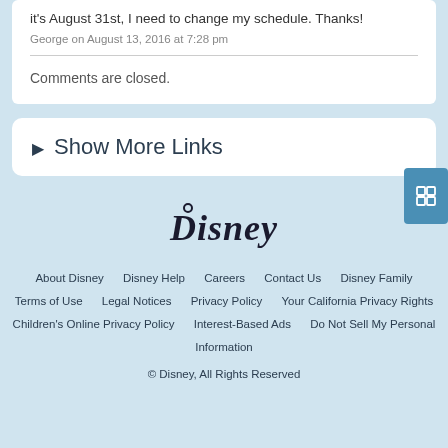it's August 31st, I need to change my schedule. Thanks!
George on August 13, 2016 at 7:28 pm
Comments are closed.
► Show More Links
[Figure (logo): Disney logo in black cursive script]
About Disney   Disney Help   Careers   Contact Us   Disney Family   Terms of Use   Legal Notices   Privacy Policy   Your California Privacy Rights   Children's Online Privacy Policy   Interest-Based Ads   Do Not Sell My Personal Information   © Disney, All Rights Reserved